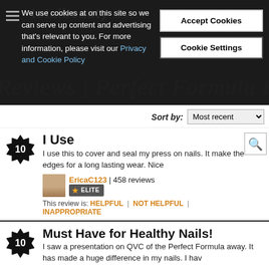[Figure (screenshot): Website header with dark overlay, logo text 'totalbeauty' and italic watermark text 'Reviews | Perfect Formula P']
We use cookies at on this site so we can serve up content and advertising that's relevant to you. For more information, please visit our Privacy and Cookie Policy
Accept Cookies
Cookie Settings
Sort by: Most recent
I Use
I use this to cover and seal my press on nails. It make the edges for a long lasting wear. Nice
EricaC123 | 458 reviews ELITE
This review is: HELPFUL | NOT HELPFUL | INAPPROPRIATE
Must Have for Healthy Nails!
I saw a presentation on QVC of the Perfect Formula away. It has made a huge difference in my nails. I hav